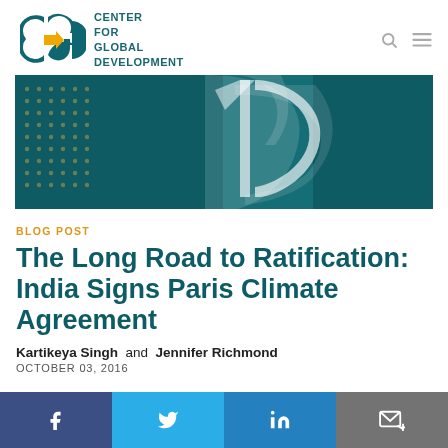[Figure (logo): CGD Center for Global Development logo with teal letters and gold arrow]
[Figure (illustration): Dark teal hero banner with dot grid pattern on left and abstract white CGD arrow/swoosh shape]
BLOG POST
The Long Road to Ratification: India Signs Paris Climate Agreement
Kartikeya Singh  and  Jennifer Richmond
OCTOBER 03, 2016
[Figure (infographic): Social sharing bar with Facebook, Twitter, LinkedIn, and email/envelope buttons]